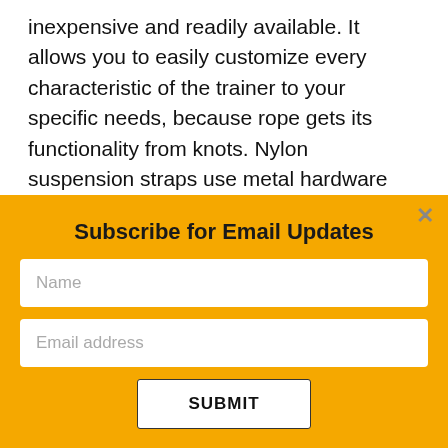inexpensive and readily available. It allows you to easily customize every characteristic of the trainer to your specific needs, because rope gets its functionality from knots. Nylon suspension straps use metal hardware and stitching which work, but they add bulk, weight and cost. Hardware and stitching also compromise the versatility of the suspension
Subscribe for Email Updates
Name
Email address
SUBMIT